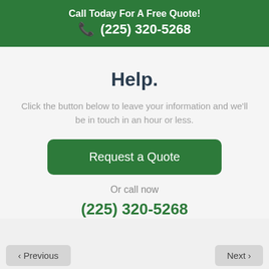Call Today For A Free Quote!
☎ (225) 320-5268
Help.
Click the button below to leave your information and we'll be in touch in an hour or less.
Request a Quote
Or call now
(225) 320-5268
‹ Previous    Next ›